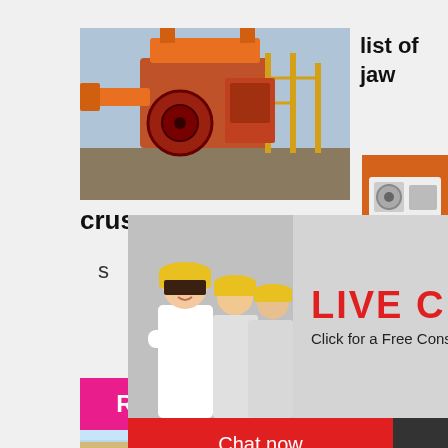[Figure (photo): Industrial jaw crusher machinery with orange equipment, conveyor belts and yellow scaffolding at a mining/construction site]
list of jaw
crus
S
[Figure (photo): Live chat popup with three workers in yellow hard hats. Text reads LIVE CHAT - Click for a Free Consultation. Buttons: Chat now and Chat later]
Read More
[Figure (photo): Right sidebar orange panel with two crusher machine images, Enjoy 3% discount, Click to Chat, Enquiry, limingjlmofen@sina.com]
[Figure (photo): Bottom image showing industrial equipment/crane on a clear day sky background]
Enquiry
limingjlmofen@sina.com